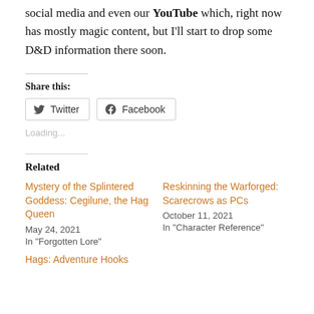social media and even our YouTube which, right now has mostly magic content, but I'll start to drop some D&D information there soon.
Share this:
Twitter  Facebook
Loading...
Related
Mystery of the Splintered Goddess: Cegilune, the Hag Queen
May 24, 2021
In "Forgotten Lore"
Reskinning the Warforged: Scarecrows as PCs
October 11, 2021
In "Character Reference"
Hags: Adventure Hooks